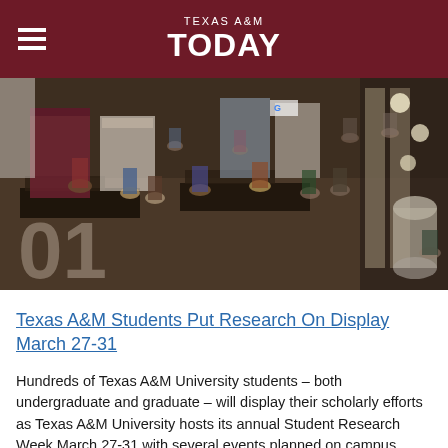TEXAS A&M TODAY
[Figure (photo): Aerial/overhead view of a busy event hall with students and visitors browsing research or recruitment booths and tables during what appears to be a student research or career fair at Texas A&M University. A large watermark number '01' is visible in the lower-left corner of the photo.]
Texas A&M Students Put Research On Display March 27-31
Hundreds of Texas A&M University students – both undergraduate and graduate – will display their scholarly efforts as Texas A&M University hosts its annual Student Research Week March 27-31 with several events planned on campus.